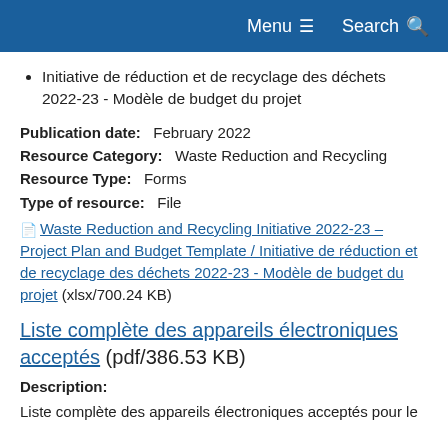Menu  Search
Initiative de réduction et de recyclage des déchets 2022-23 - Modèle de budget du projet
Publication date:   February 2022
Resource Category:   Waste Reduction and Recycling
Resource Type:   Forms
Type of resource:   File
Waste Reduction and Recycling Initiative 2022-23 – Project Plan and Budget Template / Initiative de réduction et de recyclage des déchets 2022-23 - Modèle de budget du projet (xlsx/700.24 KB)
Liste complète des appareils électroniques acceptés (pdf/386.53 KB)
Description:
Liste complète des appareils électroniques acceptés pour le